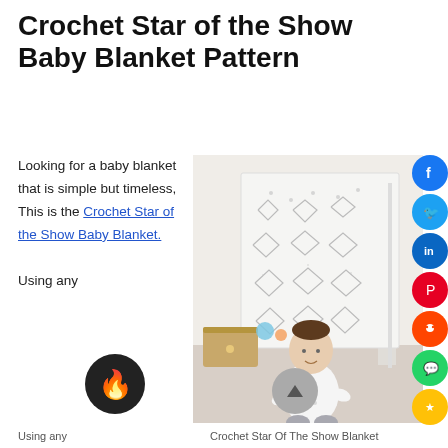Crochet Star of the Show Baby Blanket Pattern
Looking for a baby blanket that is simple but timeless, This is the Crochet Star of the Show Baby Blanket. Using any
[Figure (photo): A baby in a white outfit sitting on a light wood floor in front of a white crocheted blanket with star pattern hanging on a crib, with a wooden toy box and colorful toys behind the baby.]
Crochet Star Of The Show Blanket